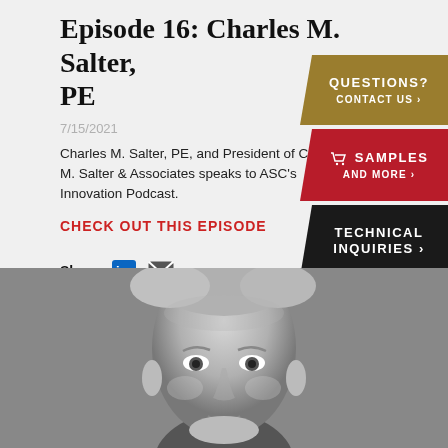Episode 16: Charles M. Salter, PE
7/15/2021
Charles M. Salter, PE, and President of Charles M. Salter & Associates speaks to ASC's Innovation Podcast.
CHECK OUT THIS EPISODE
Share:
[Figure (infographic): Gold tab: QUESTIONS? CONTACT US >]
[Figure (infographic): Red tab: cart icon SAMPLES AND MORE >]
[Figure (infographic): Dark tab: TECHNICAL INQUIRIES >]
[Figure (photo): Grayscale headshot of Charles M. Salter, PE — older man with short grey hair, looking forward, visible from forehead to chin area.]